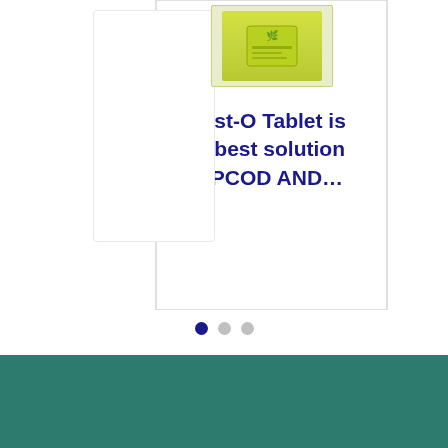[Figure (photo): Product card showing a tablet/medicine package with green label, partially visible cards on left and right sides]
Pcyst-O Tablet is the best solution for PCOD AND…
[Figure (other): Pagination dots: three circles, first filled dark blue (active), second and third grey (inactive)]
[Figure (other): Teal/dark green background footer section with a circular back-to-top button (chevron/arrow up icon) on the right side]